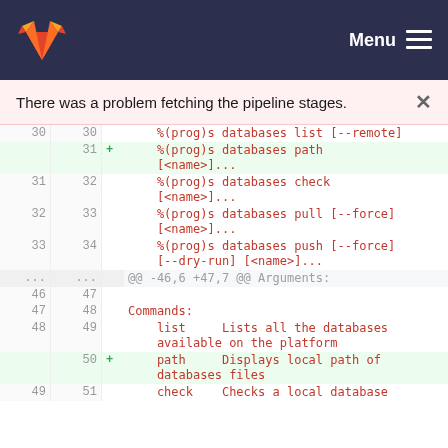GitLab — Menu
There was a problem fetching the pipeline stages.
[Figure (screenshot): GitLab diff view showing code changes to a CLI help file. Lines 30-49 on old side, 30-51 on new side. Added lines (highlighted green): line 31 '%(prog)s databases path [<name>]...' and line 50 '+ path     Displays local path of databases files'. Context lines show %(prog)s databases list/check/pull/force/push commands and a Commands section.]